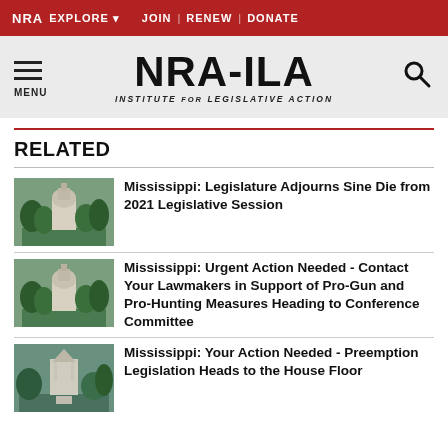NRA EXPLORE ▼  JOIN | RENEW | DONATE
[Figure (logo): NRA-ILA Institute for Legislative Action logo with hamburger menu and search icon]
RELATED
Mississippi: Legislature Adjourns Sine Die from 2021 Legislative Session
Mississippi: Urgent Action Needed - Contact Your Lawmakers in Support of Pro-Gun and Pro-Hunting Measures Heading to Conference Committee
Mississippi: Your Action Needed - Preemption Legislation Heads to the House Floor